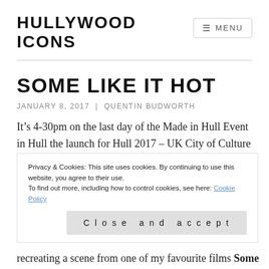HULLYWOOD ICONS
SOME LIKE IT HOT
JANUARY 8, 2017 | QUENTIN BUDWORTH
It’s 4-30pm on the last day of the Made in Hull Event in Hull the launch for Hull 2017 – UK City of Culture , I’m
Privacy & Cookies: This site uses cookies. By continuing to use this website, you agree to their use.
To find out more, including how to control cookies, see here: Cookie Policy
Close and accept
recreating a scene from one of my favourite films Some